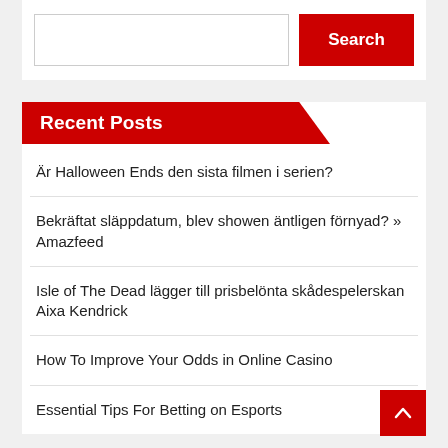[Figure (screenshot): Search input box and red Search button]
Recent Posts
Är Halloween Ends den sista filmen i serien?
Bekräftat släppdatum, blev showen äntligen förnyad? » Amazfeed
Isle of The Dead lägger till prisbelönta skådespelerskan Aixa Kendrick
How To Improve Your Odds in Online Casino
Essential Tips For Betting on Esports